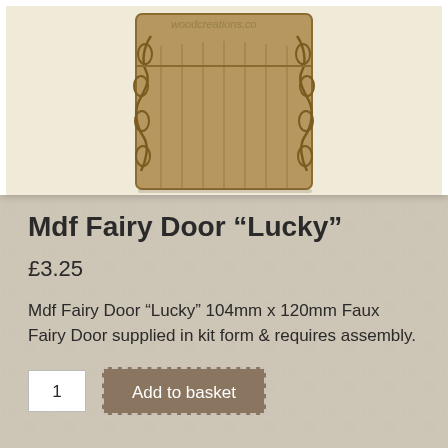[Figure (photo): MDF fairy door product photo showing a laser-cut wooden door with chain/rope decorative engraving on sides and vertical plank lines, tan/brown color, viewed from front against white background with watermark 'woodcreations.co']
Mdf Fairy Door “Lucky”
£3.25
Mdf Fairy Door “Lucky” 104mm x 120mm Faux Fairy Door supplied in kit form & requires assembly.
1  Add to basket